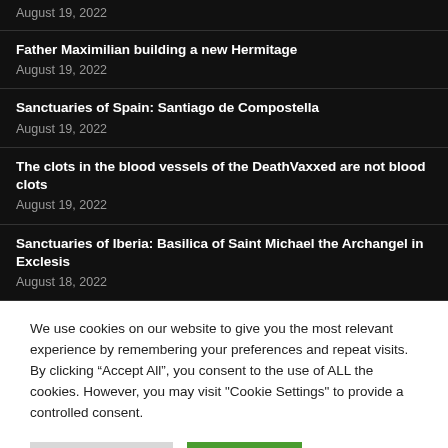August 19, 2022
Father Maximilian building a new Hermitage
August 19, 2022
Sanctuaries of Spain: Santiago de Compostella
August 19, 2022
The clots in the blood vessels of the DeathVaxxed are not blood clots
August 19, 2022
Sanctuaries of Iberia: Basilica of Saint Michael the Archangel in Exclesis
August 18, 2022
We use cookies on our website to give you the most relevant experience by remembering your preferences and repeat visits. By clicking “Accept All”, you consent to the use of ALL the cookies. However, you may visit "Cookie Settings" to provide a controlled consent.